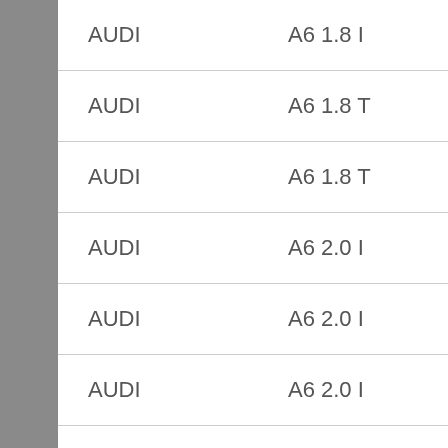| AUDI | A6 1.8 I | 92 | 125 |
| AUDI | A6 1.8 T | 110 | 150 |
| AUDI | A6 1.8 T | 132 | 180 |
| AUDI | A6 2.0 I | 74 | 101 |
| AUDI | A6 2.0 I | 85 | 116 |
| AUDI | A6 2.0 I | 96 | 131 |
| AUDI | A6 2.0 I | 103 | 140 |